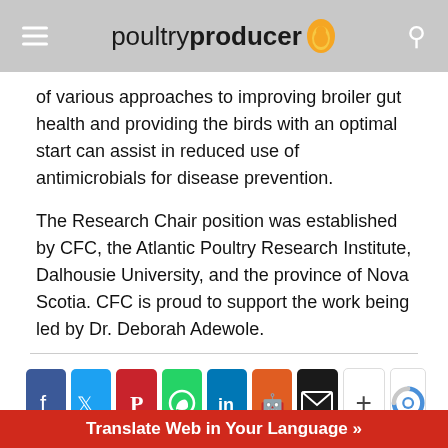poultryproducer
of various approaches to improving broiler gut health and providing the birds with an optimal start can assist in reduced use of antimicrobials for disease prevention.
The Research Chair position was established by CFC, the Atlantic Poultry Research Institute, Dalhousie University, and the province of Nova Scotia. CFC is proud to support the work being led by Dr. Deborah Adewole.
[Figure (infographic): Row of social sharing buttons: Facebook (blue), Twitter (cyan), Pinterest (red), WhatsApp (green), LinkedIn (blue), Reddit (orange), Email (black), More (+), and reCAPTCHA logo]
Translate Web in Your Language »